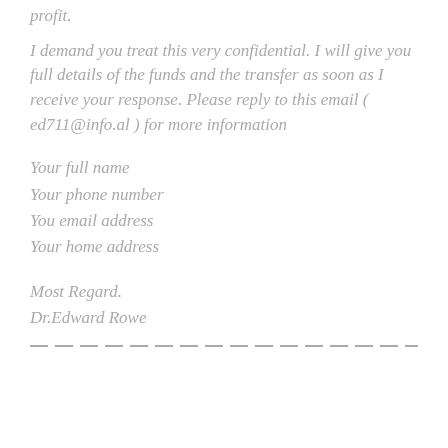profit.
I demand you treat this very confidential. I will give you full details of the funds and the transfer as soon as I receive your response. Please reply to this email ( ed711@info.al ) for more information
Your full name
Your phone number
You email address
Your home address
Most Regard.
Dr.Edward Rowe